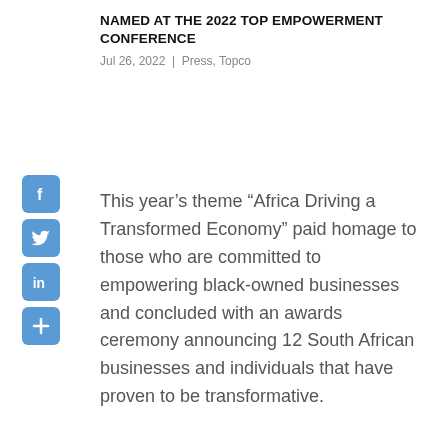NAMED AT THE 2022 TOP EMPOWERMENT CONFERENCE
Jul 26, 2022 | Press, Topco
This year's theme “Africa Driving a Transformed Economy” paid homage to those who are committed to empowering black-owned businesses and concluded with an awards ceremony announcing 12 South African businesses and individuals that have proven to be transformative.